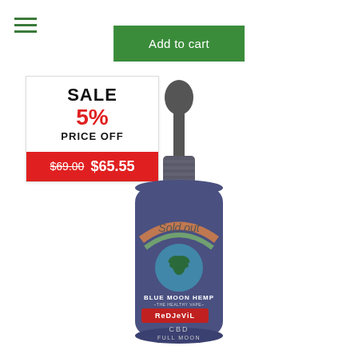[Figure (screenshot): Hamburger menu icon with three green horizontal lines]
Add to cart
[Figure (infographic): Sale badge: SALE 5% PRICE OFF with strikethrough $69.00 and new price $65.55 on red background]
[Figure (photo): Blue Moon Hemp Red Devil CBD Full Moon tincture bottle with dropper, labeled Sold out overlay]